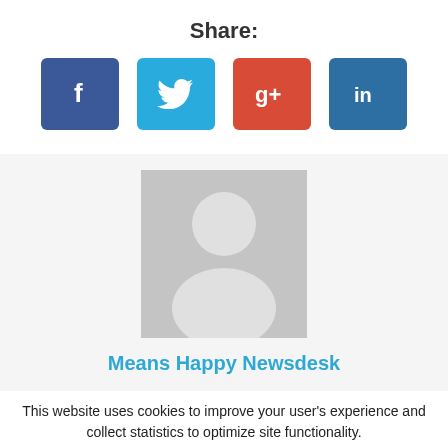Share:
[Figure (infographic): Four social media share buttons: Facebook (dark blue, f icon), Twitter (light blue, bird icon), Google+ (red, g+ icon), LinkedIn (dark blue, in icon)]
[Figure (illustration): Author box with gray placeholder avatar image and author name 'Means Happy Newsdesk' in blue text, on a light gray background]
This website uses cookies to improve your user's experience and collect statistics to optimize site functionality.
ACCEPT ALL   Learn more